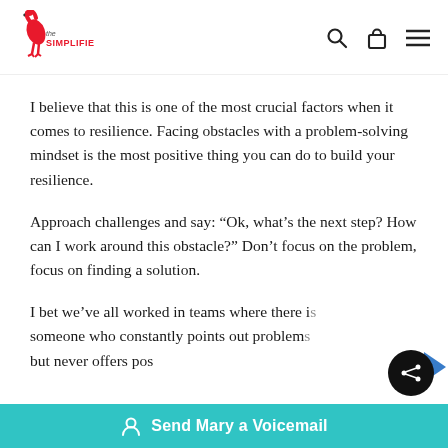[Figure (logo): The Simplifiers logo with red flamingo and text]
I believe that this is one of the most crucial factors when it comes to resilience. Facing obstacles with a problem-solving mindset is the most positive thing you can do to build your resilience.
Approach challenges and say: “Ok, what’s the next step? How can I work around this obstacle?” Don’t focus on the problem, focus on finding a solution.
I bet we’ve all worked in teams where there is someone who constantly points out problems but never offers po…